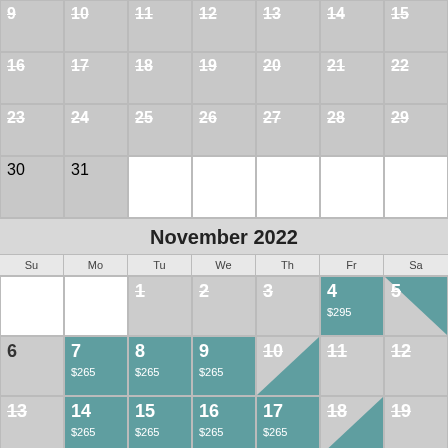| Su | Mo | Tu | We | Th | Fr | Sa |
| --- | --- | --- | --- | --- | --- | --- |
| 9 | 10 | 11 | 12 | 13 | 14 | 15 |
| 16 | 17 | 18 | 19 | 20 | 21 | 22 |
| 23 | 24 | 25 | 26 | 27 | 28 | 29 |
| 30 | 31 |  |  |  |  |  |
November 2022
| Su | Mo | Tu | We | Th | Fr | Sa |
| --- | --- | --- | --- | --- | --- | --- |
|  |  | 1 | 2 | 3 | 4 $295 | 5 |
| 6 | 7 $265 | 8 $265 | 9 $265 | 10 | 11 | 12 |
| 13 | 14 $265 | 15 $265 | 16 $265 | 17 $265 | 18 | 19 |
| 20 | 21 | 22 | 23 | 24 | 25 | 26 |